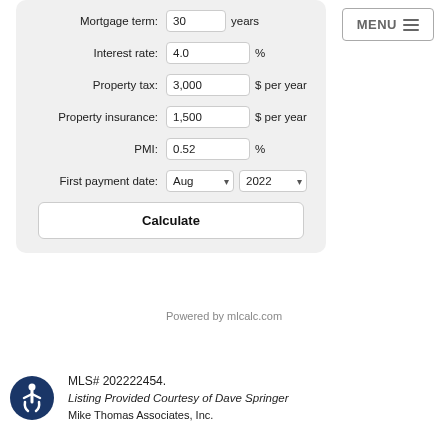[Figure (screenshot): Mortgage calculator form with fields for Mortgage term (30 years), Interest rate (4.0%), Property tax (3,000 $ per year), Property insurance (1,500 $ per year), PMI (0.52%), First payment date (Aug 2022), and a Calculate button.]
MENU
Powered by mlcalc.com
[Figure (logo): Accessibility icon — circular dark blue badge with white wheelchair-user figure]
MLS# 202222454. Listing Provided Courtesy of Dave Springer Mike Thomas Associates, Inc.